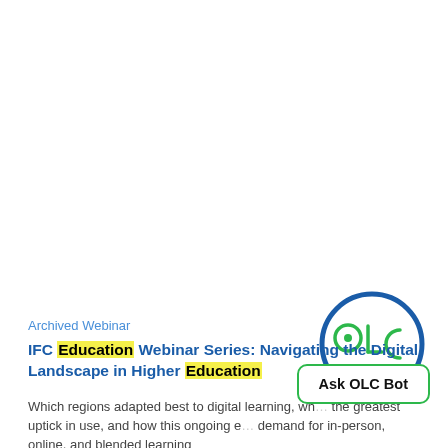Archived Webinar
IFC Education Webinar Series: Navigating the Digital Landscape in Higher Education
Which regions adapted best to digital learning, wh... the greatest uptick in use, and how this ongoing e... demand for in-person, online, and blended learning
[Figure (logo): OLC circular logo with stylized face design in blue and green]
[Figure (other): Ask OLC Bot button with green rounded rectangle border]